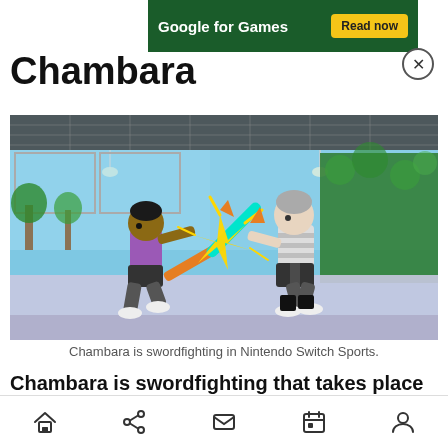[Figure (other): Google for Games advertisement banner with 'Read now' button on dark green background]
Chambara
[Figure (screenshot): Nintendo Switch Sports Chambara gameplay screenshot showing two Mii characters sword fighting with glowing swords in an indoor arena, one character in purple outfit wielding an orange sword and another in grey/white outfit wielding a cyan/green sword, with sparks at the clash point]
Chambara is swordfighting in Nintendo Switch Sports.
Chambara is swordfighting that takes place on a relatively small round arena. If you step off, you fall